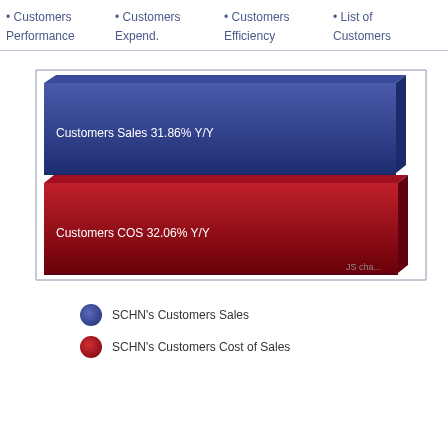• Customers Performance
• Customers Expend.
• Customers Efficiency
• List of Customers
[Figure (bar-chart): ]
SCHN's Customers Sales
SCHN's Customers Cost of Sales